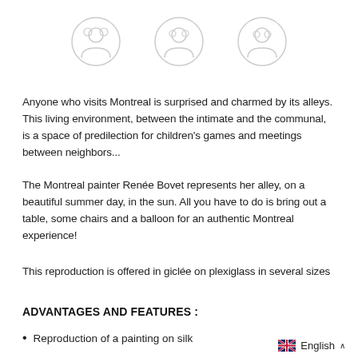[Figure (illustration): Three faded circular icons/logos in a row at the top of the page]
Anyone who visits Montreal is surprised and charmed by its alleys. This living environment, between the intimate and the communal, is a space of predilection for children's games and meetings between neighbors...
The Montreal painter Renée Bovet represents her alley, on a beautiful summer day, in the sun. All you have to do is bring out a table, some chairs and a balloon for an authentic Montreal experience!
This reproduction is offered in giclée on plexiglass in several sizes
ADVANTAGES AND FEATURES :
Reproduction of a painting on silk